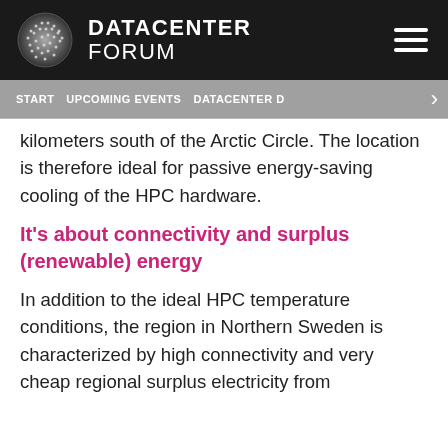DATACENTER FORUM
START  UPCOMING EVENTS  DATACENTER D
kilometers south of the Arctic Circle. The location is therefore ideal for passive energy-saving cooling of the HPC hardware.
It's about connectivity and surplus (renewable) energy
In addition to the ideal HPC temperature conditions, the region in Northern Sweden is characterized by high connectivity and very cheap regional surplus electricity from